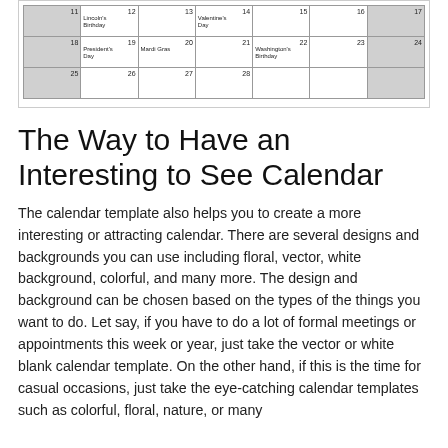[Figure (table-as-image): Bottom portion of a February calendar showing weeks with dates 11-28, with events: Lincoln's Birthday (12), Valentine's Day (14), President's Day (19), Mardi Gras (20), Washington's Birthday (22)]
The Way to Have an Interesting to See Calendar
The calendar template also helps you to create a more interesting or attracting calendar. There are several designs and backgrounds you can use including floral, vector, white background, colorful, and many more. The design and background can be chosen based on the types of the things you want to do. Let say, if you have to do a lot of formal meetings or appointments this week or year, just take the vector or white blank calendar template. On the other hand, if this is the time for casual occasions, just take the eye-catching calendar templates such as colorful, floral, nature, or many